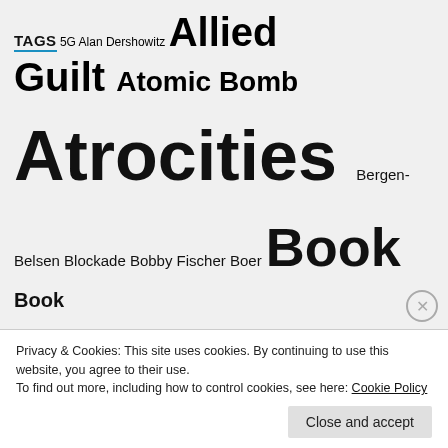TAGS
5G Alan Dershowitz Allied Guilt Atomic Bomb Atrocities Bergen-Belsen Blockade Bobby Fischer Boer Book Book Reviews Britain Buchenwald Censorship Chronic Fatigue Syndrome Churchill CODOH Cold War Communism covid Czechoslovakia Dachau David Irving Deborah Lipstadt Democracy Denazification Denier Denmark Dresden Eisenhower Ernst Zündel Eyewitnesses Fake Guilt Fake History Following Orders Free Mason Genocide Gen Patton German Genocide German Slaves Greece Hitler Holocaust Holodomor
Privacy & Cookies: This site uses cookies. By continuing to use this website, you agree to their use.
To find out more, including how to control cookies, see here: Cookie Policy
Close and accept